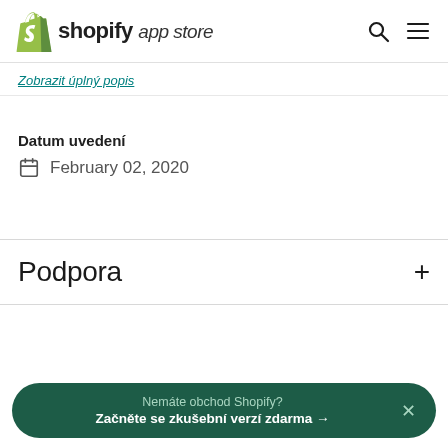shopify app store
Zobrazit úplný popis
Datum uvedení
February 02, 2020
Podpora
Nemáte obchod Shopify? Začněte se zkušební verzí zdarma →